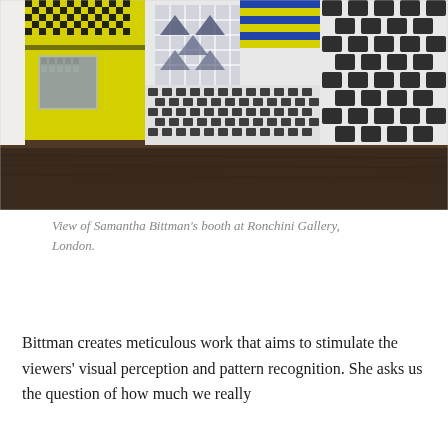[Figure (photo): Gallery installation photo showing Samantha Bittman's booth at Ronchini Gallery, London. The image features large-scale patterned textile works in yellow, black, white, and blue geometric patterns — including houndstooth, checkerboard, and chevron patterns — displayed on walls, with a dark wooden floor in the foreground.]
View of Samantha Bittman's booth at Ronchini Gallery, London.
Bittman creates meticulous work that aims to stimulate the viewers' visual perception and pattern recognition. She asks us the question of how much we really